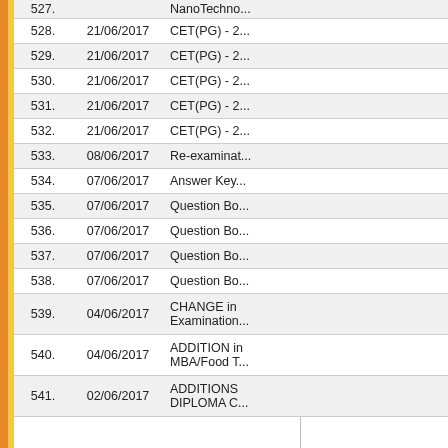| No. | Date | Link/Title |
| --- | --- | --- |
| 527. |  | NanoTechno... |
| 528. | 21/06/2017 | CET(PG) - 2... |
| 529. | 21/06/2017 | CET(PG) - 2... |
| 530. | 21/06/2017 | CET(PG) - 2... |
| 531. | 21/06/2017 | CET(PG) - 2... |
| 532. | 21/06/2017 | CET(PG) - 2... |
| 533. | 08/06/2017 | Re-examinat... |
| 534. | 07/06/2017 | Answer Key... |
| 535. | 07/06/2017 | Question Bo... |
| 536. | 07/06/2017 | Question Bo... |
| 537. | 07/06/2017 | Question Bo... |
| 538. | 07/06/2017 | Question Bo... |
| 539. | 04/06/2017 | CHANGE in Examination... |
| 540. | 04/06/2017 | ADDITION in MBA/Food T... |
| 541. | 02/06/2017 | ADDITIONS DIPLOMA C... |